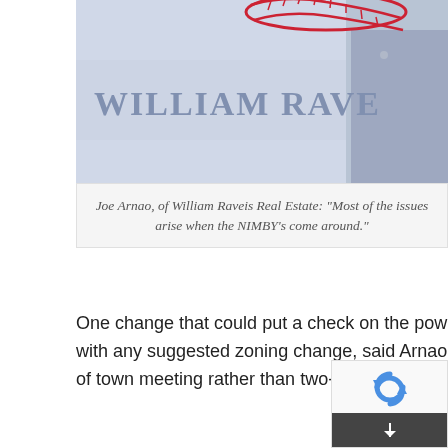[Figure (photo): Photo of Joe Arnao in front of a William Raveis Real Estate sign with red stitching logo at top. Man visible on right side in blue/grey shirt.]
Joe Arnao, of William Raveis Real Estate: “Most of the issues arise when the NIMBY’s come around.”
One change that could put a check on the powerful not-in-my-backyard forces that always seem to arise with any suggested zoning change, said Arnao, would be to allow for change to be done by a majority vote of town meeting rather than two-thirds. The proposal has been endorsed by Governor Charlie Baker.
“This would allow more flexibility,” said Arnao. “Most of the issues arise when the NIMBY’s come around… I see it every time I’ve been to a town meeting.”
Of course, it’s easy to simply blame people who don’t want it in their backyard without also considering the fragile yet spectacular environment that is Cape Cod.